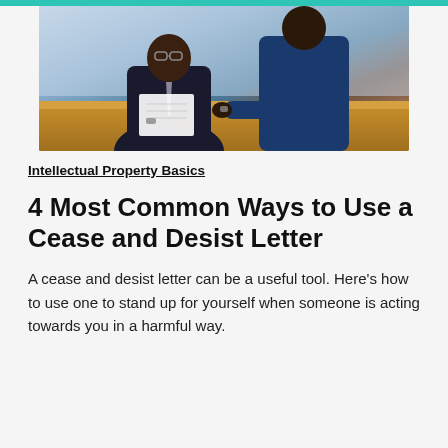[Figure (photo): Two businessmen in suits at a table exchanging or reviewing documents; one holds papers while the other reaches toward them.]
Intellectual Property Basics
4 Most Common Ways to Use a Cease and Desist Letter
A cease and desist letter can be a useful tool. Here's how to use one to stand up for yourself when someone is acting towards you in a harmful way.